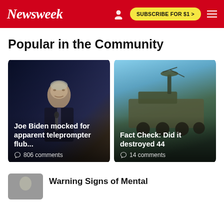Newsweek | SUBSCRIBE FOR $1 >
Popular in the Community
[Figure (photo): Photo of Joe Biden speaking at a podium with a microphone, dark background]
Joe Biden mocked for apparent teleprompter flub...
806 comments
[Figure (photo): Photo of military vehicle/equipment against blue sky]
Fact Check: Did it destroyed 44
14 comments
[Figure (photo): Thumbnail image partially visible at bottom]
Warning Signs of Mental